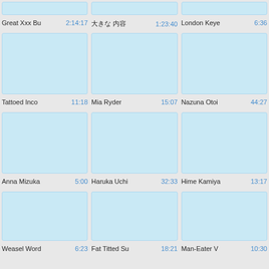[Figure (screenshot): Video thumbnail grid showing video titles and durations. Partial top row: Great Xxx Bu 2:14:17, some Asian text 1:23:40, London Keye 6:36. Second row thumbnails: Tattoed Inco 11:18, Mia Ryder 15:07, Nazuna Otoi 44:27. Third row thumbnails: Anna Mizuka 5:00, Haruka Uchi 32:33, Hime Kamiya 13:17. Bottom partial row: Weasel Word 6:23, Fat Titted Su 18:21, Man-Eater V 10:30.]